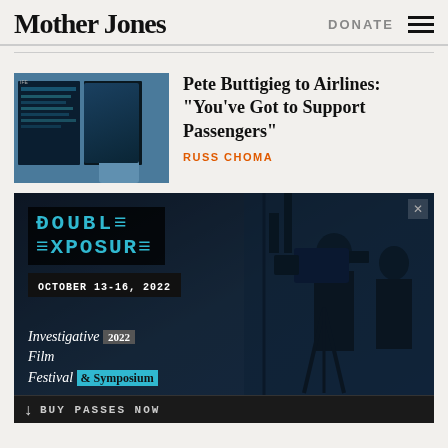Mother Jones
DONATE
Pete Buttigieg to Airlines: "You've Got to Support Passengers"
RUSS CHOMA
[Figure (photo): Woman wearing a blue mask looking at airport departure boards]
[Figure (infographic): Double Exposure 2022 Investigative Film Festival & Symposium advertisement. October 13-16, 2022. Buy Passes Now.]